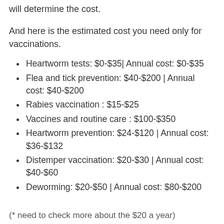will determine the cost.
And here is the estimated cost you need only for vaccinations.
Heartworm tests: $0-$35| Annual cost: $0-$35
Flea and tick prevention: $40-$200 | Annual cost: $40-$200
Rabies vaccination : $15-$25
Vaccines and routine care : $100-$350
Heartworm prevention: $24-$120 | Annual cost: $36-$132
Distemper vaccination: $20-$30 | Annual cost: $40-$60
Deworming: $20-$50 | Annual cost: $80-$200
(* need to check more about the $20 a year)